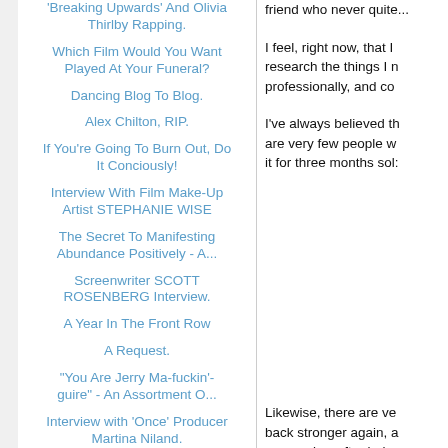'Breaking Upwards' And Olivia Thirlby Rapping.
Which Film Would You Want Played At Your Funeral?
Dancing Blog To Blog.
Alex Chilton, RIP.
If You're Going To Burn Out, Do It Conciously!
Interview With Film Make-Up Artist STEPHANIE WISE
The Secret To Manifesting Abundance Positively - A...
Screenwriter SCOTT ROSENBERG Interview.
A Year In The Front Row
A Request.
"You Are Jerry Ma-fuckin'-guire" - An Assortment O...
Interview with 'Once' Producer Martina Niland.
A Great Moment From Spanish film 'Princesas'
Giuseppe Tornatore And Ennio...
friend who never quite...
I feel, right now, that I research the things I n professionally, and co...
I've always believed th are very few people w it for three months sol...
Likewise, there are ve back stronger again, a screenplay, after being...